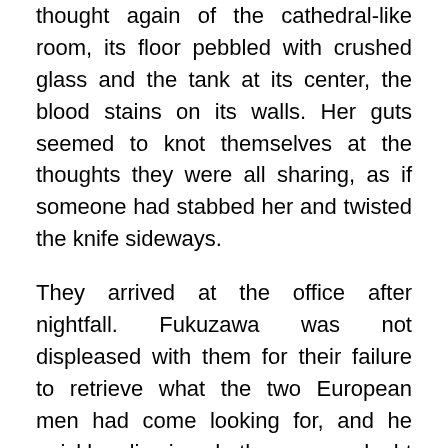thought again of the cathedral-like room, its floor pebbled with crushed glass and the tank at its center, the blood stains on its walls. Her guts seemed to knot themselves at the thoughts they were all sharing, as if someone had stabbed her and twisted the knife sideways.
They arrived at the office after nightfall. Fukuzawa was not displeased with them for their failure to retrieve what the two European men had come looking for, and he quickly dismissed them, no doubt taking pity on how dirty and tired they looked. A glance in the glass of a window informed Yosano that her face was, indeed, streaked with black dust.
“I need ten showers,” she muttered once she stepped out of the building.
Her feet ached. Her heart ached. Kunikida had stayed